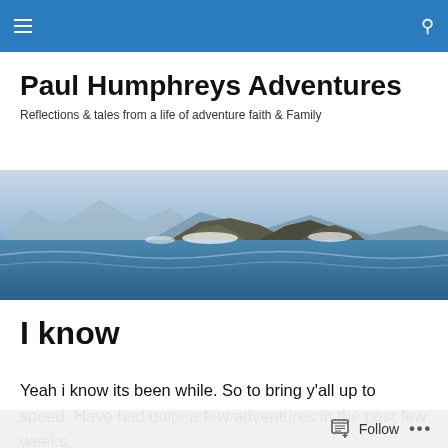Navigation bar with menu and search icons
Paul Humphreys Adventures
Reflections & tales from a life of adventure faith & Family
[Figure (photo): Panoramic coastal scene with rocky outcrops, crashing waves, blue sea and mountains in the background under hazy sky]
I know
Yeah i know its been while. So to bring y'all up to speed. Have had quite a few adventures in the past few weeks.
Follow   ...